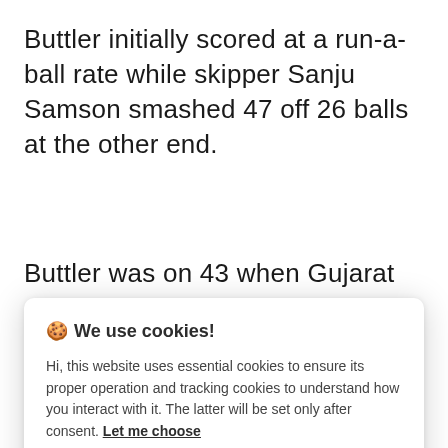Buttler initially scored at a run-a-ball rate while skipper Sanju Samson smashed 47 off 26 balls at the other end.
Buttler was on 43 when Gujarat captain
🍪 We use cookies!
Hi, this website uses essential cookies to ensure its proper operation and tracking cookies to understand how you interact with it. The latter will be set only after consent. Let me choose
Accept all
Reject all
rashon had scored, so said, so keep